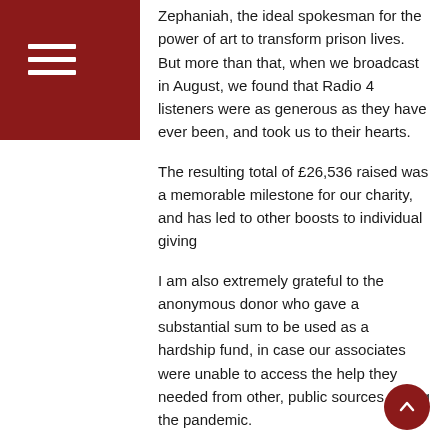Zephaniah, the ideal spokesman for the power of art to transform prison lives. But more than that, when we broadcast in August, we found that Radio 4 listeners were as generous as they have ever been, and took us to their hearts.
The resulting total of £26,536 raised was a memorable milestone for our charity, and has led to other boosts to individual giving
I am also extremely grateful to the anonymous donor who gave a substantial sum to be used as a hardship fund, in case our associates were unable to access the help they needed from other, public sources during the pandemic.
As trustees, we have been able to work with the leadership to continue to develop and strengthen the charity during the pandemic. The main fruit of this work was a revised and updated strategy document to take us to the end of our strategy period in 2023.
This reaffirmed our view that although there are many settings where our work can have an impact, our work